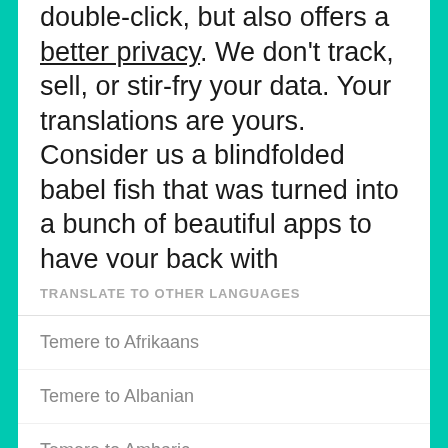double-click, but also offers a better privacy. We don't track, sell, or stir-fry your data. Your translations are yours. Consider us a blindfolded babel fish that was turned into a bunch of beautiful apps to have your back with translations.
TRANSLATE TO OTHER LANGUAGES
Temere to Afrikaans
Temere to Albanian
Temere to Amharic
Temere to Arabic